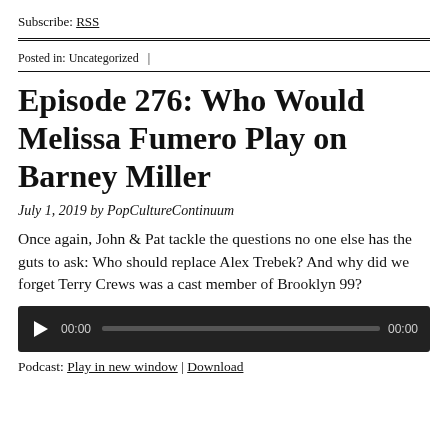Subscribe: RSS
Posted in: Uncategorized  |
Episode 276: Who Would Melissa Fumero Play on Barney Miller
July 1, 2019 by PopCultureContinuum
Once again, John & Pat tackle the questions no one else has the guts to ask: Who should replace Alex Trebek? And why did we forget Terry Crews was a cast member of Brooklyn 99?
[Figure (other): Audio player with play button, time display 00:00, progress bar, and end time 00:00 on dark background]
Podcast: Play in new window | Download